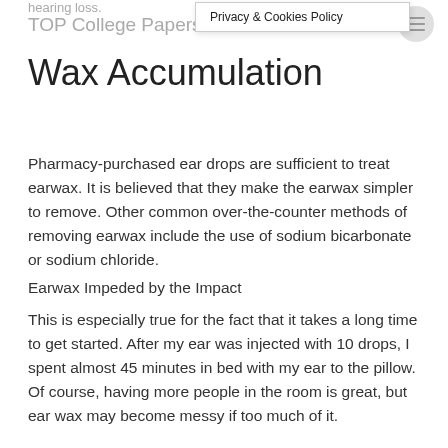hearing loss.
TOP College Papers
Privacy & Cookies Policy
Wax Accumulation
Pharmacy-purchased ear drops are sufficient to treat earwax. It is believed that they make the earwax simpler to remove. Other common over-the-counter methods of removing earwax include the use of sodium bicarbonate or sodium chloride.
Earwax Impeded by the Impact
This is especially true for the fact that it takes a long time to get started. After my ear was injected with 10 drops, I spent almost 45 minutes in bed with my ear to the pillow. Of course, having more people in the room is great, but ear wax may become messy if too much of it.